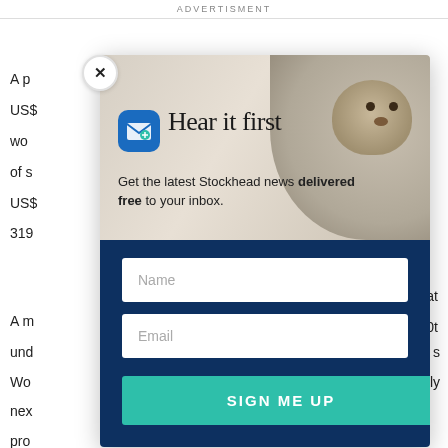ADVERTISMENT
A p... USS... wo... 00t of s... USS... 319...
A m... und... s Wo... rly nex... pro...
[Figure (screenshot): Email newsletter signup modal popup with close button (X), envelope icon, groundhog photo background, headline 'Hear it first', subtext 'Get the latest Stockhead news delivered free to your inbox.', Name input field, Email input field, and SIGN ME UP button]
Hear it first
Get the latest Stockhead news delivered free to your inbox.
Name
Email
SIGN ME UP